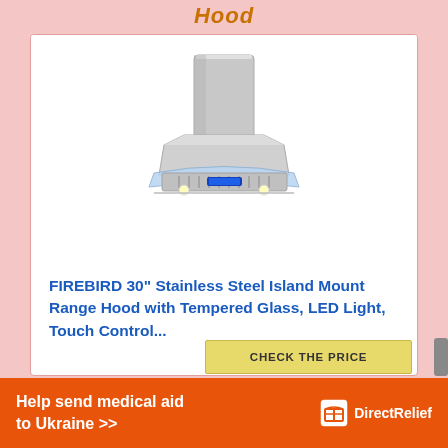Hood
[Figure (photo): Stainless steel island mount range hood with curved glass front, blue LED display panel, and integrated lights. The hood has a cylindrical chimney flue tapering to a wider body with a glass visor.]
FIREBIRD 30" Stainless Steel Island Mount Range Hood with Tempered Glass, LED Light, Touch Control...
CHECK THE PRICE
Help send medical aid to Ukraine >>
[Figure (logo): Direct Relief logo: white box icon with a cross/package symbol next to 'Direct Relief' text in white]